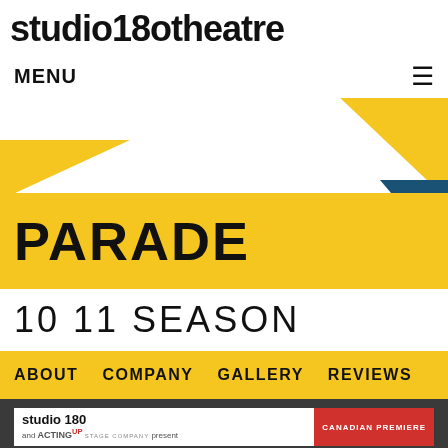studio180theatre
MENU
[Figure (illustration): Geometric decorative triangles in yellow and dark teal/blue on white background]
PARADE
10 11 SEASON
ABOUT  COMPANY  GALLERY  REVIEWS
[Figure (logo): Studio 180 and Acting Up Stage Company logos with CANADIAN PREMIERE badge in red]